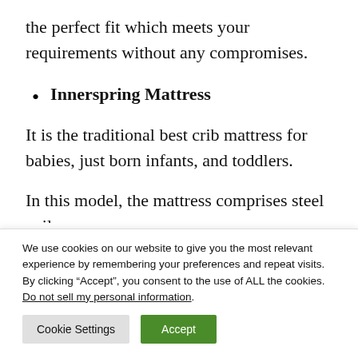the perfect fit which meets your requirements without any compromises.
Innerspring Mattress
It is the traditional best crib mattress for babies, just born infants, and toddlers.
In this model, the mattress comprises steel coils
We use cookies on our website to give you the most relevant experience by remembering your preferences and repeat visits. By clicking “Accept”, you consent to the use of ALL the cookies.
Do not sell my personal information.
Cookie Settings
Accept